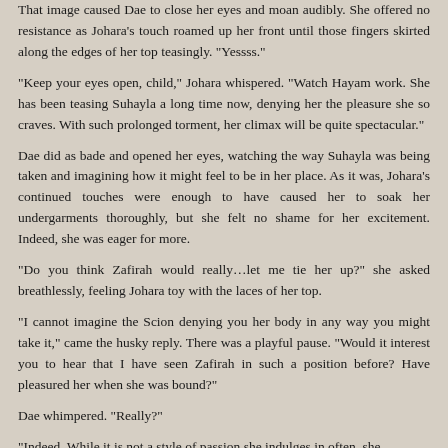That image caused Dae to close her eyes and moan audibly. She offered no resistance as Johara's touch roamed up her front until those fingers skirted along the edges of her top teasingly. "Yessss."
"Keep your eyes open, child," Johara whispered. "Watch Hayam work. She has been teasing Suhayla a long time now, denying her the pleasure she so craves. With such prolonged torment, her climax will be quite spectacular."
Dae did as bade and opened her eyes, watching the way Suhayla was being taken and imagining how it might feel to be in her place. As it was, Johara's continued touches were enough to have caused her to soak her undergarments thoroughly, but she felt no shame for her excitement. Indeed, she was eager for more.
"Do you think Zafirah would really…let me tie her up?" she asked breathlessly, feeling Johara toy with the laces of her top.
"I cannot imagine the Scion denying you her body in any way you might take it," came the husky reply. There was a playful pause. "Would it interest you to hear that I have seen Zafirah in such a position before? Have pleasured her when she was bound?"
Dae whimpered. "Really?"
"Indeed. While it is not a style of passion she indulges in often, she